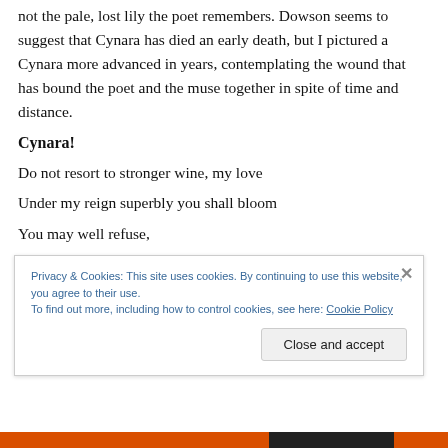not the pale, lost lily the poet remembers. Dowson seems to suggest that Cynara has died an early death, but I pictured a Cynara more advanced in years, contemplating the wound that has bound the poet and the muse together in spite of time and distance.
Cynara!
Do not resort to stronger wine, my love
Under my reign superbly you shall bloom
You may well refuse,
But should you refuse
Privacy & Cookies: This site uses cookies. By continuing to use this website, you agree to their use. To find out more, including how to control cookies, see here: Cookie Policy